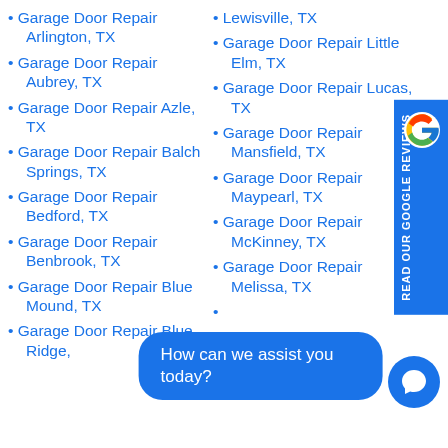Garage Door Repair Arlington, TX
Garage Door Repair Aubrey, TX
Garage Door Repair Azle, TX
Garage Door Repair Balch Springs, TX
Garage Door Repair Bedford, TX
Garage Door Repair Benbrook, TX
Garage Door Repair Blue Mound, TX
Garage Door Repair Blue Ridge, TX
Garage Door Repair Lewisville, TX
Garage Door Repair Little Elm, TX
Garage Door Repair Lucas, TX
Garage Door Repair Mansfield, TX
Garage Door Repair Maypearl, TX
Garage Door Repair McKinney, TX
Garage Door Repair Melissa, TX
How can we assist you today?